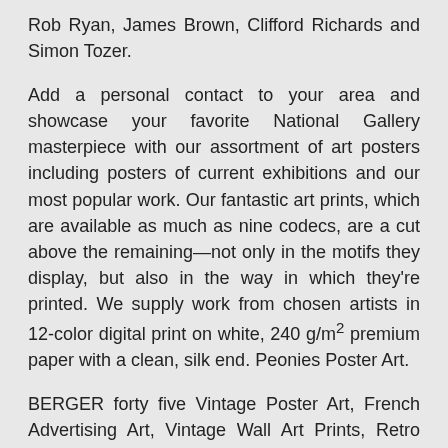Rob Ryan, James Brown, Clifford Richards and Simon Tozer.
Add a personal contact to your area and showcase your favorite National Gallery masterpiece with our assortment of art posters including posters of current exhibitions and our most popular work. Our fantastic art prints, which are available as much as nine codecs, are a cut above the remaining—not only in the motifs they display, but also in the way in which they're printed. We supply work from chosen artists in 12-color digital print on white, 240 g/m² premium paper with a clean, silk end. Peonies Poster Art.
BERGER forty five Vintage Poster Art, French Advertising Art, Vintage Wall Art Prints, Retro Poster, Art Deco Print, Vintage Wine Poster, VAP22. AllPosters.com is the go-to vacation spot for wall artwork and different fun visible merchandise that